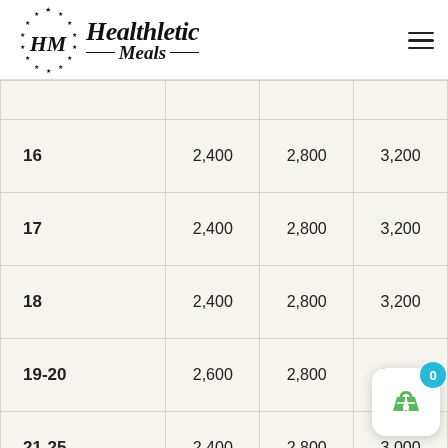Healthletic Meals logo and navigation
|  |  |  |  |
| --- | --- | --- | --- |
| 16 | 2,400 | 2,800 | 3,200 |
| 17 | 2,400 | 2,800 | 3,200 |
| 18 | 2,400 | 2,800 | 3,200 |
| 19-20 | 2,600 | 2,800 | 3,000 |
| 21-25 | 2,400 | 2,800 | 3,000 |